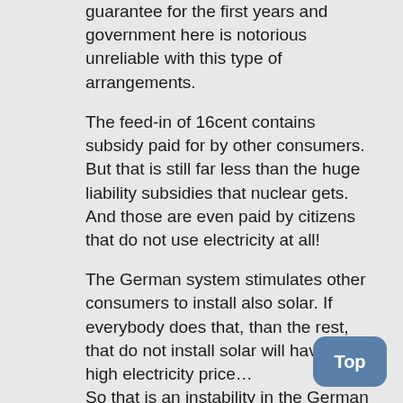guarantee for the first years and government here is notorious unreliable with this type of arrangements.
The feed-in of 16cent contains subsidy paid for by other consumers.
But that is still far less than the huge liability subsidies that nuclear gets. And those are even paid by citizens that do not use electricity at all!
The German system stimulates other consumers to install also solar. If everybody does that, than the rest, that do not install solar will have a sky high electricity price…
So that is an instability in the German system, which require careful management. So they now